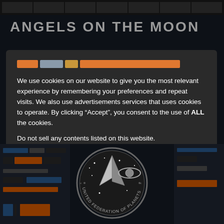ANGELS ON THE MOON
We use cookies on our website to give you the most relevant experience by remembering your preferences and repeat visits. We also use advertisements services that uses cookies to operate. By clicking “Accept”, you consent to the use of ALL the cookies.
Do not sell any contents listed on this website.
[Figure (other): United Federation of Planets emblem/badge in bottom center of page, sci-fi themed background with dark panels on sides]